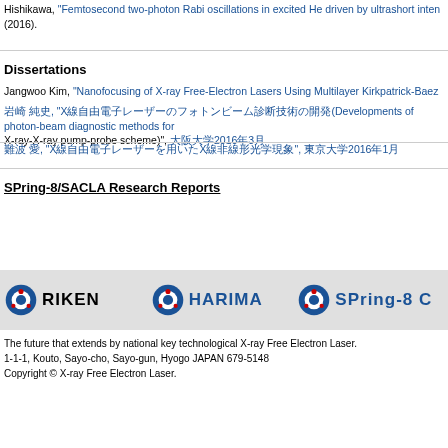Hishikawa, "Femtosecond two-photon Rabi oscillations in excited He driven by ultrashort intense laser pulses", (2016).
Dissertations
Jangwoo Kim, "Nanofocusing of X-ray Free-Electron Lasers Using Multilayer Kirkpatrick-Baez Mirrors"
岩崎 純史, "X線自由電子レーザーのフォトンビーム診断技術の開発(Developments of photon-beam diagnostic methods for X-ray-X-ray pump-probe scheme)", 大阪大学2016年3月
難波 愛, "X線自由電子レーザーを用いたX線非線形光学現象", 東京大学2016年1月
SPring-8/SACLA Research Reports
[Figure (logo): RIKEN, HARIMA, and SPring-8 Center logos in a footer bar]
The future that extends by national key technological X-ray Free Electron Laser.
1-1-1, Kouto, Sayo-cho, Sayo-gun, Hyogo JAPAN 679-5148
Copyright © X-ray Free Electron Laser.